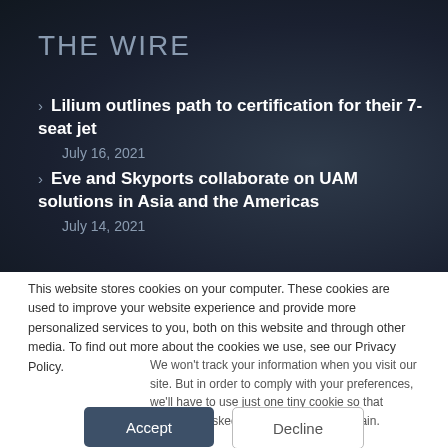THE WIRE
Lilium outlines path to certification for their 7-seat jet
July 16, 2021
Eve and Skyports collaborate on UAM solutions in Asia and the Americas
July 14, 2021
This website stores cookies on your computer. These cookies are used to improve your website experience and provide more personalized services to you, both on this website and through other media. To find out more about the cookies we use, see our Privacy Policy.
We won't track your information when you visit our site. But in order to comply with your preferences, we'll have to use just one tiny cookie so that you're not asked to make this choice again.